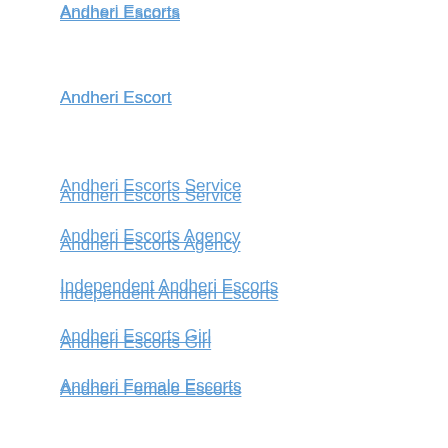Andheri Escorts
Andheri Escort
Andheri Escorts Service
Andheri Escorts Agency
Independent Andheri Escorts
Andheri Escorts Girl
Andheri Female Escorts
Escorts in Andheri
Call Girl in Andheri
Andheri Call Girl
Reply